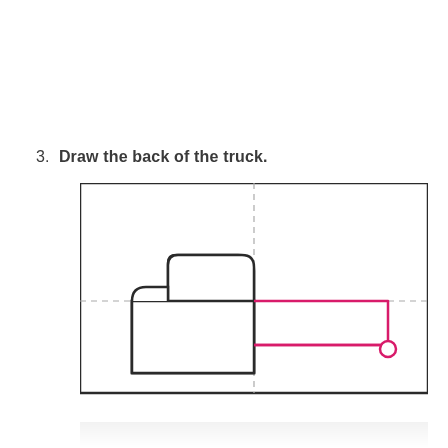3. Draw the back of the truck.
[Figure (illustration): Step 3 drawing instruction showing a truck outline. On the left half (black lines): a truck cab with rounded top corners and a lower rectangular body section beneath it. On the right half (pink/magenta lines): a long rectangular trailer body extending to the right, with a small rounded bump at the far right end. Dashed gray guide lines divide the drawing area into quadrants.]